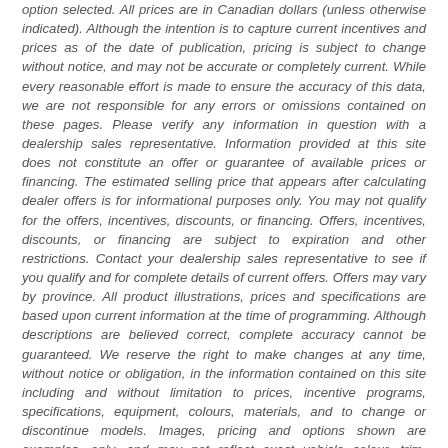option selected. All prices are in Canadian dollars (unless otherwise indicated). Although the intention is to capture current incentives and prices as of the date of publication, pricing is subject to change without notice, and may not be accurate or completely current. While every reasonable effort is made to ensure the accuracy of this data, we are not responsible for any errors or omissions contained on these pages. Please verify any information in question with a dealership sales representative. Information provided at this site does not constitute an offer or guarantee of available prices or financing. The estimated selling price that appears after calculating dealer offers is for informational purposes only. You may not qualify for the offers, incentives, discounts, or financing. Offers, incentives, discounts, or financing are subject to expiration and other restrictions. Contact your dealership sales representative to see if you qualify and for complete details of current offers. Offers may vary by province. All product illustrations, prices and specifications are based upon current information at the time of programming. Although descriptions are believed correct, complete accuracy cannot be guaranteed. We reserve the right to make changes at any time, without notice or obligation, in the information contained on this site including and without limitation to prices, incentive programs, specifications, equipment, colours, materials, and to change or discontinue models. Images, pricing and options shown are examples, only, and may not reflect exact vehicle colour, trim, options, pricing or other specifications. Images shown may not necessarily represent identical vehicles in transit to the dealership. Consumers should verify any such information of any